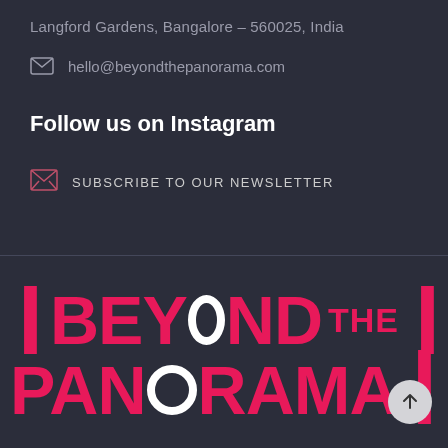Langford Gardens, Bangalore – 560025, India
hello@beyondthepanorama.com
Follow us on Instagram
SUBSCRIBE TO OUR NEWSLETTER
[Figure (logo): Beyond The Panorama logo in large bold pink text with white circular O letters, partially cropped on right side. Scroll-to-top button visible.]